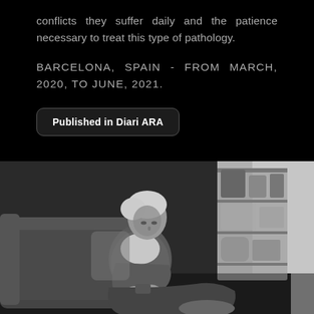conflicts they suffer daily and the patience necessary to treat this type of pathology.
BARCELONA, SPAIN - FROM MARCH, 2020, TO JUNE, 2021.
Published in Diari ARA
[Figure (photo): Black and white photograph of an elderly woman sitting on a sofa/couch, holding something in her hands, looking down. Behind her is a shelving unit with various items. The scene appears to be a home interior.]